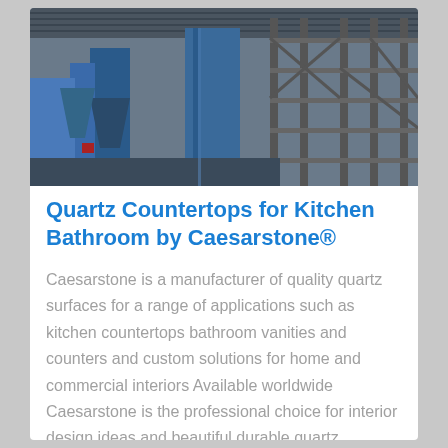[Figure (photo): Industrial facility with large blue steel structures, scaffolding, and machinery under a corrugated roof]
Quartz Countertops for Kitchen Bathroom by Caesarstone®
Caesarstone is a manufacturer of quality quartz surfaces for a range of applications such as kitchen countertops bathroom vanities and counters and custom solutions for home and commercial interiors Available worldwide Caesarstone is the professional choice for interior design ideas and beautiful durable quartz surfaces